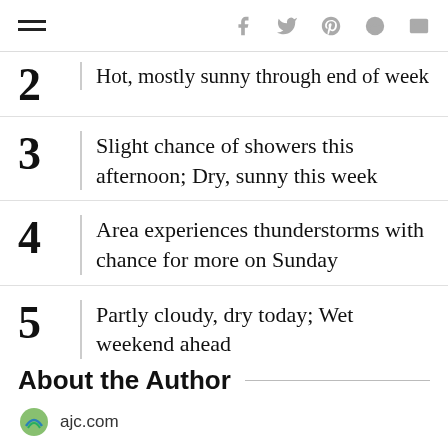navigation bar with hamburger menu and social icons (f, twitter, pinterest, reddit, mail)
2 Hot, mostly sunny through end of week
3 Slight chance of showers this afternoon; Dry, sunny this week
4 Area experiences thunderstorms with chance for more on Sunday
5 Partly cloudy, dry today; Wet weekend ahead
About the Author
ajc.com